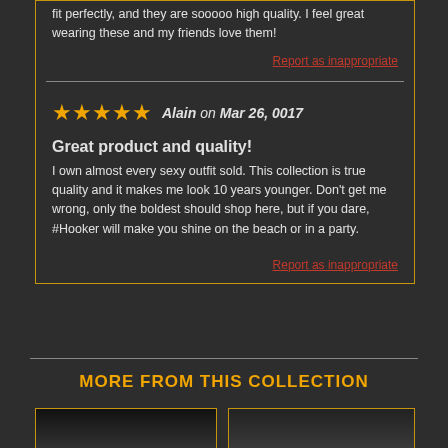fit perfectly, and they are sooooo high quality. I feel great wearing these and my friends love them!
Report as inappropriate
★★★★★ Alain on Mar 26, 0017
Great product and quality!
I own almost every sexy outfit sold. This collection is true quality and it makes me look 10 years younger. Don't get me wrong, only the boldest should shop here, but if you dare, #Hooker will make you shine on the beach or in a party.
Report as inappropriate
MORE FROM THIS COLLECTION
[Figure (photo): Product photo 1 - dark clothing item]
[Figure (photo): Product photo 2 - model wearing item]